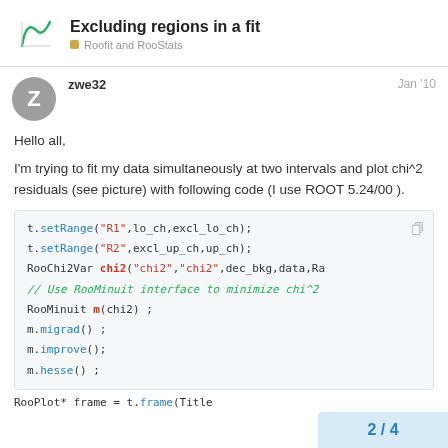Excluding regions in a fit — Roofit and RooStats
zwe32   Jan '10
Hello all,
I'm trying to fit my data simultaneously at two intervals and plot chi^2 residuals (see picture) with following code (I use ROOT 5.24/00 ).
[Figure (screenshot): Code block showing RooFit C++ code: t.setRange, RooChi2Var, RooMinuit, migrad, improve, hesse calls]
RooPlot* frame = t.frame(Title
2 / 4